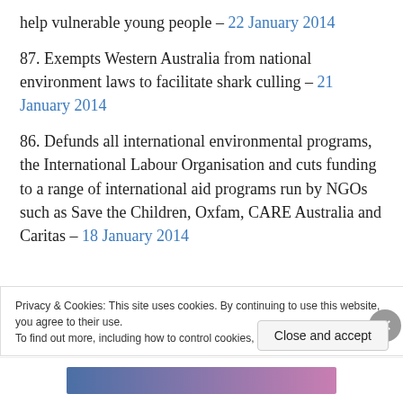help vulnerable young people – 22 January 2014
87. Exempts Western Australia from national environment laws to facilitate shark culling – 21 January 2014
86. Defunds all international environmental programs, the International Labour Organisation and cuts funding to a range of international aid programs run by NGOs such as Save the Children, Oxfam, CARE Australia and Caritas – 18 January 2014
Privacy & Cookies: This site uses cookies. By continuing to use this website, you agree to their use. To find out more, including how to control cookies, see here: Cookie Policy